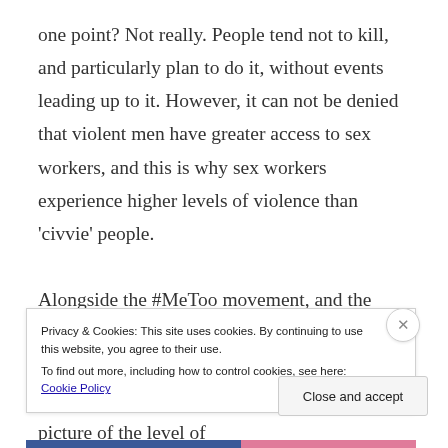one point? Not really. People tend not to kill, and particularly plan to do it, without events leading up to it. However, it can not be denied that violent men have greater access to sex workers, and this is why sex workers experience higher levels of violence than 'civvie' people.

Alongside the #MeToo movement, and the open discussions of the lengths of what women have to do to keep themselves safe, only now are we slowly beginning to see a more accurate picture of the level of
Privacy & Cookies: This site uses cookies. By continuing to use this website, you agree to their use.
To find out more, including how to control cookies, see here: Cookie Policy
Close and accept